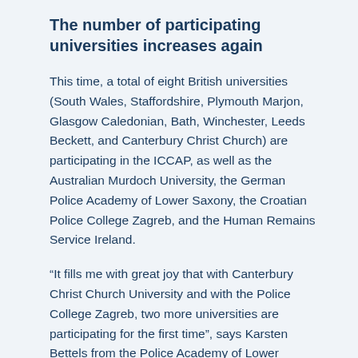The number of participating universities increases again
This time, a total of eight British universities (South Wales, Staffordshire, Plymouth Marjon, Glasgow Caledonian, Bath, Winchester, Leeds Beckett, and Canterbury Christ Church) are participating in the ICCAP, as well as the Australian Murdoch University, the German Police Academy of Lower Saxony, the Croatian Police College Zagreb, and the Human Remains Service Ireland.
“It fills me with great joy that with Canterbury Christ Church University and with the Police College Zagreb, two more universities are participating for the first time”, says Karsten Bettels from the Police Academy of Lower Saxony. A total of 49 students and 15 teachers will be involved in the ICCAP. So far, more than 170 students from Europe and Australia have